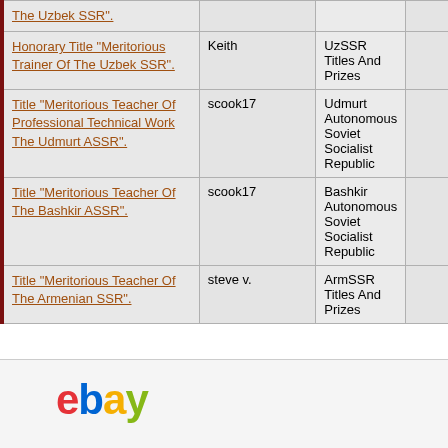| Item | Seller | Category |  |
| --- | --- | --- | --- |
| The Uzbek SSR". |  |  |  |
| Honorary Title "Meritorious Trainer Of The Uzbek SSR". | Keith | UzSSR Titles And Prizes |  |
| Title "Meritorious Teacher Of Professional Technical Work The Udmurt ASSR". | scook17 | Udmurt Autonomous Soviet Socialist Republic |  |
| Title "Meritorious Teacher Of The Bashkir ASSR". | scook17 | Bashkir Autonomous Soviet Socialist Republic |  |
| Title "Meritorious Teacher Of The Armenian SSR". | steve v. | ArmSSR Titles And Prizes |  |
[Figure (logo): eBay logo in colorful letters: e(red), b(blue), a(yellow), y(green)]